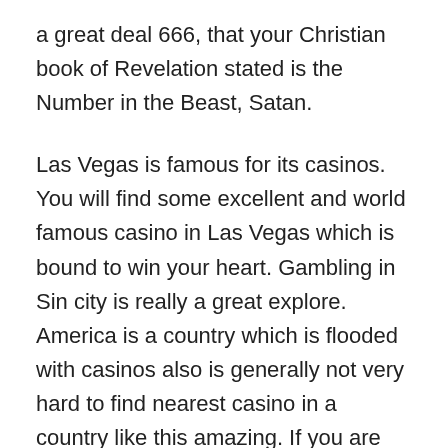a great deal 666, that your Christian book of Revelation stated is the Number in the Beast, Satan.
Las Vegas is famous for its casinos. You will find some excellent and world famous casino in Las Vegas which is bound to win your heart. Gambling in Sin city is really a great explore. America is a country which is flooded with casinos also is generally not very hard to find nearest casino in a country like this amazing. If you are planning for a vacation and you interest in gambling too then the time always best to book your accommodation in advance that too at a neighborhood where you could find nearest casino with ease.
I struck up a conversation using a slot player who